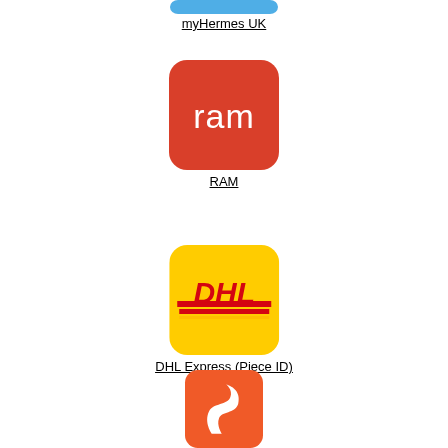[Figure (logo): myHermes UK app icon - blue rounded square (partial, cropped at top)]
myHermes UK
[Figure (logo): RAM app icon - red/orange rounded square with white 'ram' text in lowercase]
RAM
[Figure (logo): DHL Express app icon - yellow rounded square with red DHL logo and red/yellow stripes]
DHL Express (Piece ID)
[Figure (logo): Sendle app icon - orange rounded square with white S-shaped swoosh logo (partially cropped at bottom)]